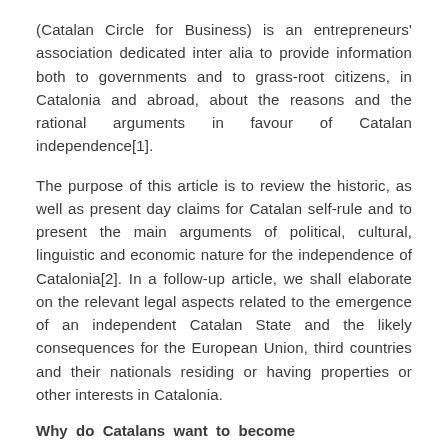(Catalan Circle for Business) is an entrepreneurs' association dedicated inter alia to provide information both to governments and to grass-root citizens, in Catalonia and abroad, about the reasons and the rational arguments in favour of Catalan independence[1].
The purpose of this article is to review the historic, as well as present day claims for Catalan self-rule and to present the main arguments of political, cultural, linguistic and economic nature for the independence of Catalonia[2]. In a follow-up article, we shall elaborate on the relevant legal aspects related to the emergence of an independent Catalan State and the likely consequences for the European Union, third countries and their nationals residing or having properties or other interests in Catalonia.
Why do Catalans want to become